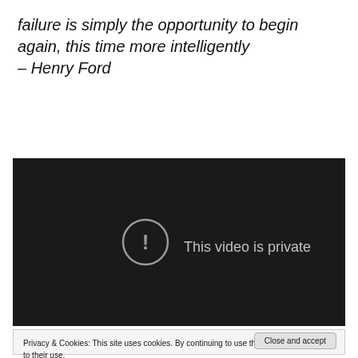failure is simply the opportunity to begin again, this time more intelligently
– Henry Ford
[Figure (screenshot): Embedded video player showing 'This video is private' message with a warning icon on a dark background]
Privacy & Cookies: This site uses cookies. By continuing to use this website, you agree to their use.
To find out more, including how to control cookies, see here: Cookie Policy
Close and accept